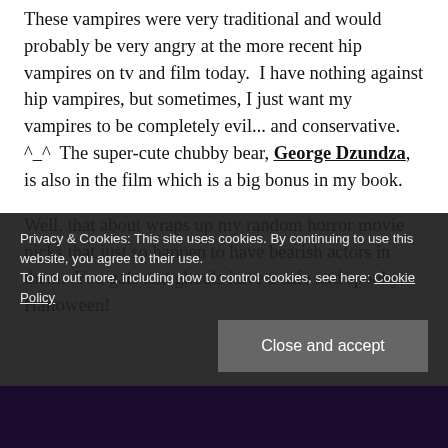These vampires were very traditional and would probably be very angry at the more recent hip vampires on tv and film today.  I have nothing against hip vampires, but sometimes, I just want my vampires to be completely evil... and conservative.  ^_^  The super-cute chubby bear, George Dzundza, is also in the film which is a big bonus in my book.
Well, that about wraps up my random horror movie picks that just so happen to have bearish actors in them.  You gals and ghouls have a safe and spooky Halloween!
Privacy & Cookies: This site uses cookies. By continuing to use this website, you agree to their use.
To find out more, including how to control cookies, see here: Cookie Policy
Close and accept
[Figure (photo): Dark blue-toned image at bottom of page, partially visible]